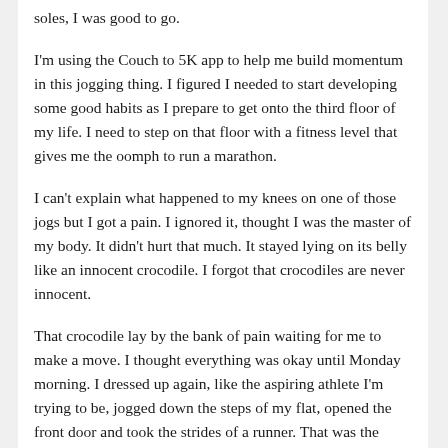soles, I was good to go.
I'm using the Couch to 5K app to help me build momentum in this jogging thing. I figured I needed to start developing some good habits as I prepare to get onto the third floor of my life. I need to step on that floor with a fitness level that gives me the oomph to run a marathon.
I can't explain what happened to my knees on one of those jogs but I got a pain. I ignored it, thought I was the master of my body. It didn't hurt that much. It stayed lying on its belly like an innocent crocodile. I forgot that crocodiles are never innocent.
That crocodile lay by the bank of pain waiting for me to make a move. I thought everything was okay until Monday morning. I dressed up again, like the aspiring athlete I'm trying to be, jogged down the steps of my flat, opened the front door and took the strides of a runner. That was the move that that crocodile was waiting for.
The pain that hid in my knee started pushing itself out. I got